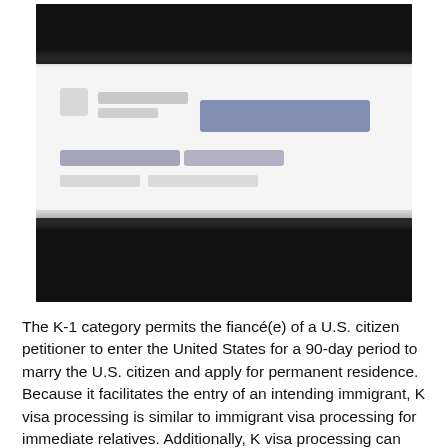[Figure (screenshot): A blurred/redacted screenshot showing a dark black header bar at top, a white middle section with blurred text and a blue highlighted area, and a dark black footer bar at bottom. The content appears to be a redacted government form or web interface.]
The K-1 category permits the fiancé(e) of a U.S. citizen petitioner to enter the United States for a 90-day period to marry the U.S. citizen and apply for permanent residence. Because it facilitates the entry of an intending immigrant, K visa processing is similar to immigrant visa processing for immediate relatives. Additionally, K visa processing can take longer than processing for other